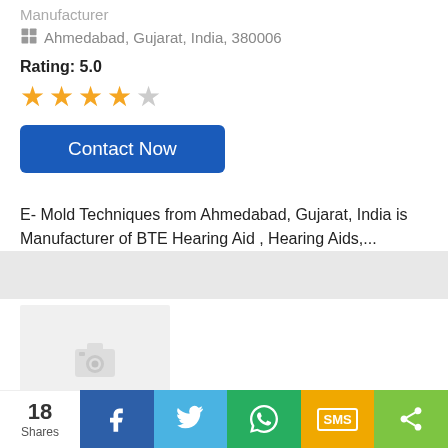Manufacturer
Ahmedabad, Gujarat, India, 380006
Rating: 5.0
[Figure (infographic): Star rating display: 4 filled gold stars and 1 empty/gray star]
[Figure (infographic): Contact Now button — blue rounded rectangle]
E- Mold Techniques from Ahmedabad, Gujarat, India is Manufacturer of BTE Hearing Aid , Hearing Aids,...
[Figure (photo): Gray placeholder image with camera icon]
[Figure (infographic): Social share bar with 18 Shares count, Facebook, Twitter, WhatsApp, SMS, and More share buttons]